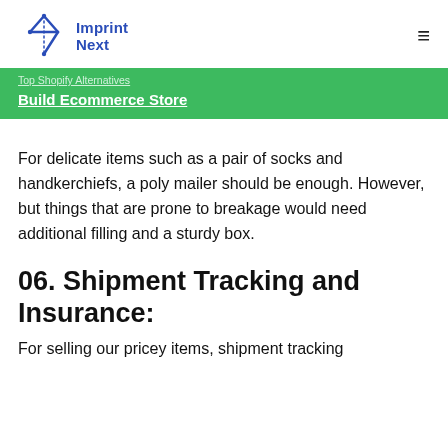Imprint Next
[Figure (logo): Imprint Next logo with blue arrow/star icon and blue text]
Build Ecommerce Store
For delicate items such as a pair of socks and handkerchiefs, a poly mailer should be enough. However, but things that are prone to breakage would need additional filling and a sturdy box.
06. Shipment Tracking and Insurance:
For selling our pricey items, shipment tracking